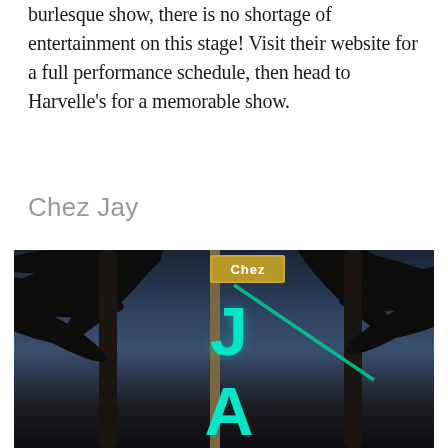burlesque show, there is no shortage of entertainment on this stage! Visit their website for a full performance schedule, then head to Harvelle's for a memorable show.
Chez Jay
[Figure (photo): Nighttime photo of the Chez Jay restaurant neon sign. A tall pole sign with 'Chez' in a yellow box at top and glowing teal/turquoise neon letters 'J' and 'A' below, set against a dark blue twilight sky with dark palm tree silhouettes on either side.]